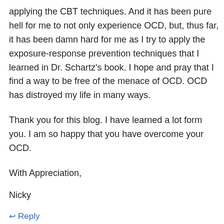applying the CBT techniques. And it has been pure hell for me to not only experience OCD, but, thus far, it has been damn hard for me as I try to apply the exposure-response prevention techniques that I learned in Dr. Schartz's book. I hope and pray that I find a way to be free of the menace of OCD. OCD has distroyed my life in many ways.
Thank you for this blog. I have learned a lot form you. I am so happy that you have overcome your OCD.
With Appreciation,
Nicky
Reply